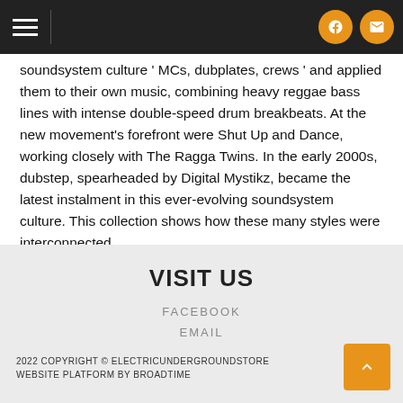Navigation bar with hamburger menu, Facebook icon, and email icon
soundsystem culture ' MCs, dubplates, crews ' and applied them to their own music, combining heavy reggae bass lines with intense double-speed drum breakbeats. At the new movement's forefront were Shut Up and Dance, working closely with The Ragga Twins. In the early 2000s, dubstep, spearheaded by Digital Mystikz, became the latest instalment in this ever-evolving soundsystem culture. This collection shows how these many styles were interconnected.
VISIT US
FACEBOOK
EMAIL
2022 COPYRIGHT © ELECTRICUNDERGROUNDSTORE
WEBSITE PLATFORM BY BROADTIME